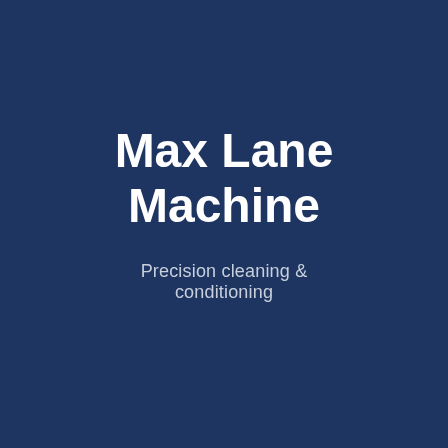Max Lane Machine
Precision cleaning & conditioning